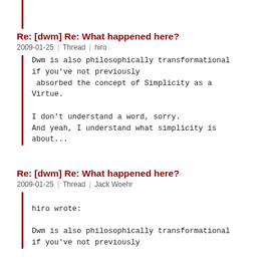Re: [dwm] Re: What happened here?
2009-01-25 | Thread | hiro
Dwm is also philosophically transformational
if you've not previously
 absorbed the concept of Simplicity as a
Virtue.

I don't understand a word, sorry.
And yeah, I understand what simplicity is
about...
Re: [dwm] Re: What happened here?
2009-01-25 | Thread | Jack Woehr
hiro wrote:

Dwm is also philosophically transformational
if you've not previously